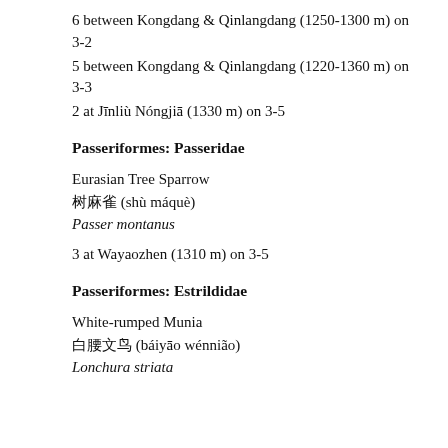6 between Kongdang & Qinlangdang (1250-1300 m) on 3-2
5 between Kongdang & Qinlangdang (1220-1360 m) on 3-3
2 at Jīnliù Nóngjiā (1330 m) on 3-5
Passeriformes: Passeridae
Eurasian Tree Sparrow
树麻雀 (shù máquè)
Passer montanus
3 at Wayaozhen (1310 m) on 3-5
Passeriformes: Estrildidae
White-rumped Munia
白腰文鸟 (báiyāo wénnião)
Lonchura striata